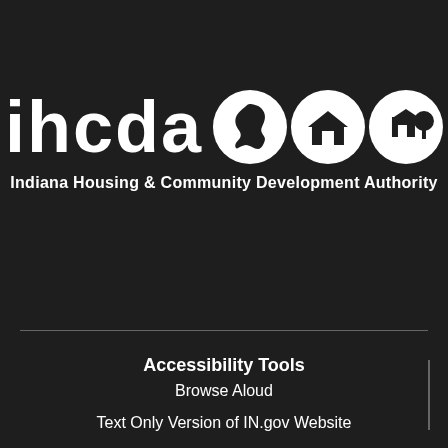[Figure (logo): IHCDA logo with the text 'ihcda' in bold white letters followed by three circular icons containing: an Indiana state silhouette, a house icon, and a house with tree icon]
Indiana Housing & Community Development Authority
Accessibility Tools
Browse Aloud
Text Only Version of IN.gov Website